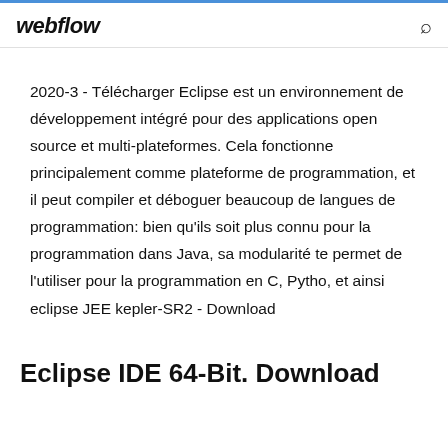webflow
2020-3 - Télécharger Eclipse est un environnement de développement intégré pour des applications open source et multi-plateformes. Cela fonctionne principalement comme plateforme de programmation, et il peut compiler et déboguer beaucoup de langues de programmation: bien qu'ils soit plus connu pour la programmation dans Java, sa modularité te permet de l'utiliser pour la programmation en C, Pytho, et ainsi eclipse JEE kepler-SR2 - Download
Eclipse IDE 64-Bit. Download